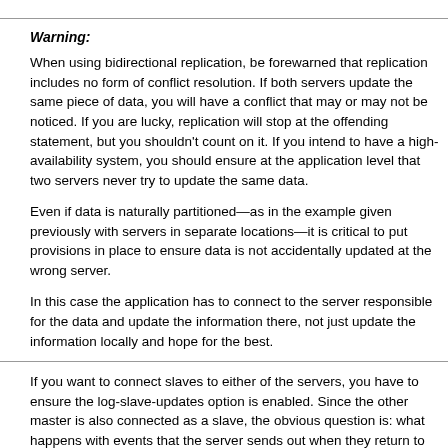Warning:
When using bidirectional replication, be forewarned that replication includes no form of conflict resolution. If both servers update the same piece of data, you will have a conflict that may or may not be noticed. If you are lucky, replication will stop at the offending statement, but you shouldn't count on it. If you intend to have a high-availability system, you should ensure at the application level that two servers never try to update the same data.
Even if data is naturally partitioned—as in the example given previously with servers in separate locations—it is critical to put provisions in place to ensure data is not accidentally updated at the wrong server.
In this case the application has to connect to the server responsible for the data and update the information there, not just update the information locally and hope for the best.
If you want to connect slaves to either of the servers, you have to ensure the log-slave-updates option is enabled. Since the other master is also connected as a slave, the obvious question is: what happens with events that the server sends out when they return to the server?
When replication is running, the server ID of the server that created the event is attached to each event. This server ID is then propagated further when the slave writes the event to its binary log. When a server sees an event with the same server ID as its own server ID, that event is simply skipped and replication proceeds with the next event.
Sometimes, you want to process the event anyway. This might be the case